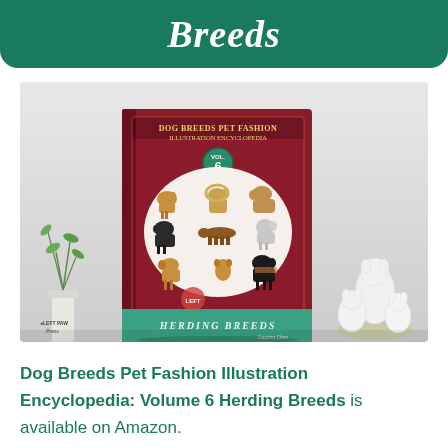Breeds
[Figure (photo): Photo of a book titled 'Dog Breeds Pet Fashion Illustration Encyclopedia Volume 6 Herding Breeds' displayed standing upright, with a small plant in a white vase on the left and white dog figurines on the right, on a light gray surface.]
Dog Breeds Pet Fashion Illustration Encyclopedia: Volume 6 Herding Breeds is available on Amazon.